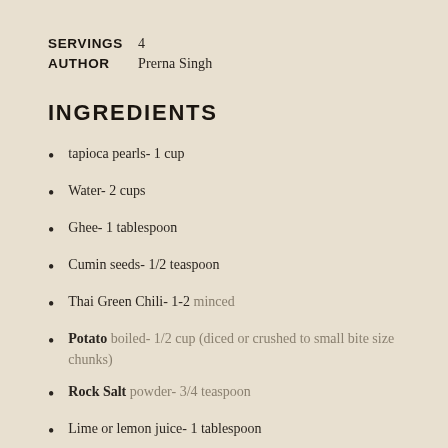SERVINGS  4
AUTHOR  Prerna Singh
INGREDIENTS
tapioca pearls- 1 cup
Water- 2 cups
Ghee- 1 tablespoon
Cumin seeds- 1/2 teaspoon
Thai Green Chili- 1-2 minced
Potato boiled- 1/2 cup (diced or crushed to small bite size chunks)
Rock Salt powder- 3/4 teaspoon
Lime or lemon juice- 1 tablespoon
Cilantro- 1/4 cup chopped